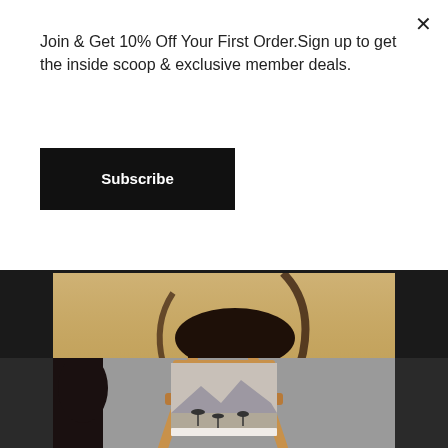Join & Get 10% Off Your First Order.Sign up to get the inside scoop & exclusive member deals.
Subscribe
[Figure (photo): Close-up photograph of a dark horse's legs and body walking through golden dry grassland/savanna. Artist signature visible in lower right area.]
[Figure (photo): Photograph of a wooden artist's easel holding a canvas print depicting a minimalist African savanna landscape with silhouetted acacia trees and mountains.]